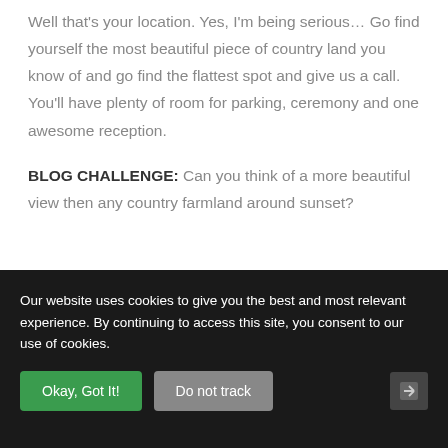Well that's your location. Yes, I'm being serious… Go find yourself the most beautiful piece of country land you know of and go find the flattest spot and give us a call. You'll have plenty of room for parking, ceremony and one awesome reception.
BLOG CHALLENGE: Can you think of a more beautiful view then any country farmland around sunset?
Our website uses cookies to give you the best and most relevant experience. By continuing to access this site, you consent to our use of cookies.